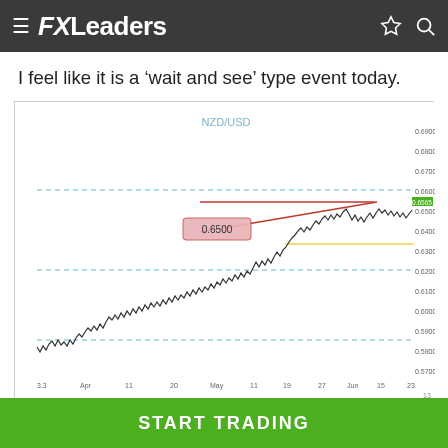≡ FXLeaders
I feel like it is a ‘wait and see’ type event today.
[Figure (continuous-plot): NZD/USD 240-minute candlestick/line chart showing price action from March/April through June. Price trends upward from around 0.5700 to a peak near 0.6600, with horizontal dashed teal support/resistance lines, a red ascending triangle annotation with label 0.6500, and a yellow horizontal line around 0.6420.]
NZD/USD – 240min.
START TRADING